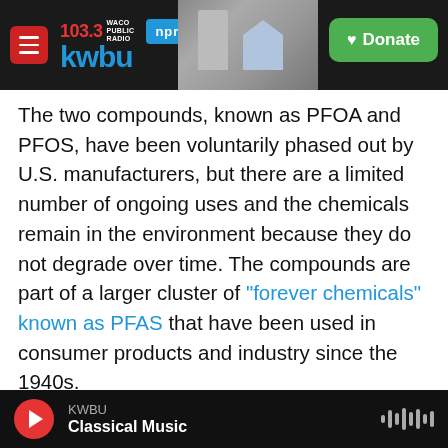[Figure (screenshot): KWBU 103.3 Waco Public Radio NPR website header with logo, station photo, and green Donate button]
The two compounds, known as PFOA and PFOS, have been voluntarily phased out by U.S. manufacturers, but there are a limited number of ongoing uses and the chemicals remain in the environment because they do not degrade over time. The compounds are part of a larger cluster of "forever chemicals" known as PFAS that have been used in consumer products and industry since the 1940s.
The EPA on Wednesday issued nonbinding health advisories that set health risk thresholds for PFOA
KWBU
Classical Music